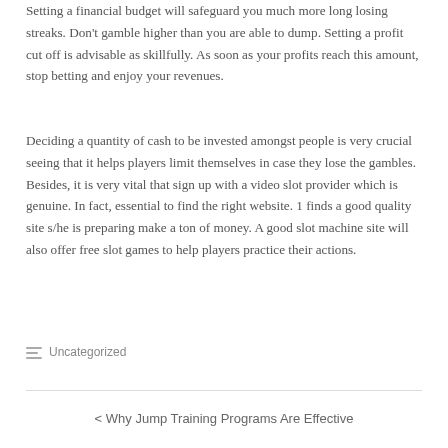Setting a financial budget will safeguard you much more long losing streaks. Don't gamble higher than you are able to dump. Setting a profit cut off is advisable as skillfully. As soon as your profits reach this amount, stop betting and enjoy your revenues.
Deciding a quantity of cash to be invested amongst people is very crucial seeing that it helps players limit themselves in case they lose the gambles. Besides, it is very vital that sign up with a video slot provider which is genuine. In fact, essential to find the right website. 1 finds a good quality site s/he is preparing make a ton of money. A good slot machine site will also offer free slot games to help players practice their actions.
Uncategorized
< Why Jump Training Programs Are Effective